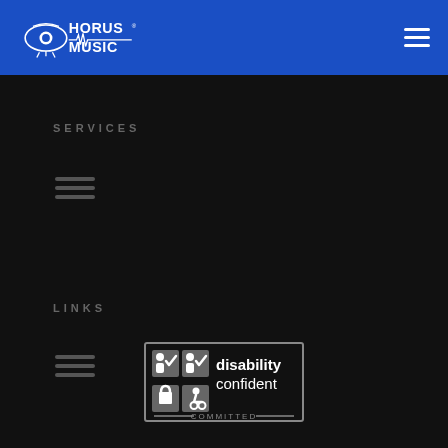Horus Music
SERVICES
[Figure (other): Hamburger menu icon (three horizontal lines) under SERVICES section]
LINKS
[Figure (other): Hamburger menu icon (three horizontal lines) under LINKS section]
[Figure (logo): Disability Confident COMMITTED badge with icons]